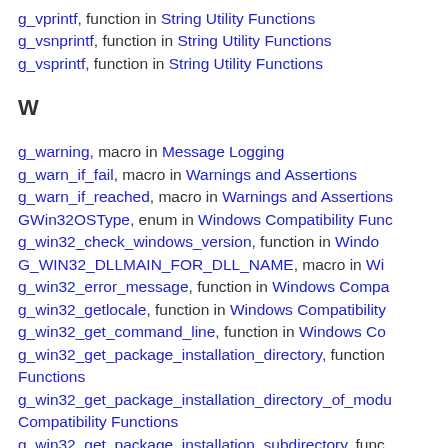g_vprintf, function in String Utility Functions
g_vsnprintf, function in String Utility Functions
g_vsprintf, function in String Utility Functions
W
g_warning, macro in Message Logging
g_warn_if_fail, macro in Warnings and Assertions
g_warn_if_reached, macro in Warnings and Assertions
GWin32OSType, enum in Windows Compatibility Functions
g_win32_check_windows_version, function in Windows Compatibility Functions
G_WIN32_DLLMAIN_FOR_DLL_NAME, macro in Windows Compatibility Functions
g_win32_error_message, function in Windows Compatibility Functions
g_win32_getlocale, function in Windows Compatibility Functions
g_win32_get_command_line, function in Windows Compatibility Functions
g_win32_get_package_installation_directory, function in Windows Compatibility Functions
g_win32_get_package_installation_directory_of_module, function in Windows Compatibility Functions
g_win32_get_package_installation_subdirectory, function in Windows Compatibility Functions
g_win32_get_windows_version, function in Windows Compatibility Functions